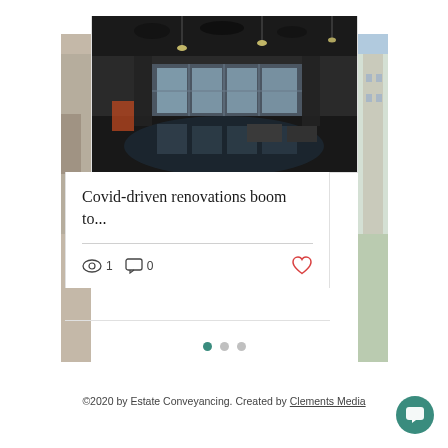[Figure (photo): A dark, water-damaged interior space resembling a garage or industrial room with hanging lights and windows in the background, reflecting off a wet floor. Part of a blog post card layout with side images partially visible.]
Covid-driven renovations boom to...
1 views, 0 comments, heart/like button
[Figure (infographic): Three pagination dots: one teal/active and two grey]
©2020 by Estate Conveyancing. Created by Clements Media
[Figure (other): Teal circular chat button with speech bubble icon in bottom right corner]